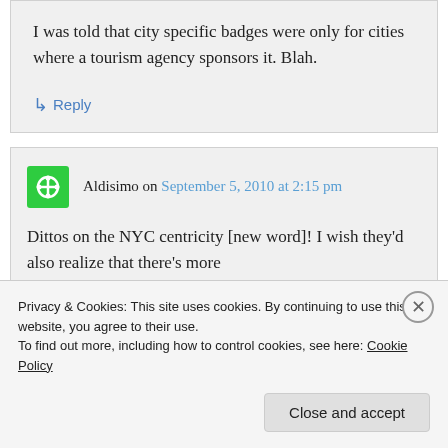I was told that city specific badges were only for cities where a tourism agency sponsors it. Blah.
↳ Reply
Aldisimo on September 5, 2010 at 2:15 pm
Dittos on the NYC centricity [new word]! I wish they'd also realize that there's more
Privacy & Cookies: This site uses cookies. By continuing to use this website, you agree to their use.
To find out more, including how to control cookies, see here: Cookie Policy
Close and accept